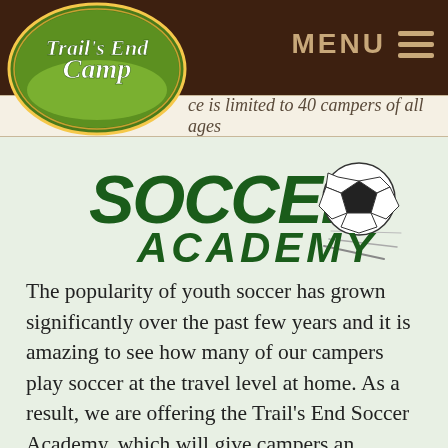ce is limited to 40 campers of all ages
[Figure (logo): Soccer Academy logo with soccer ball graphic and speed lines, dark green text on light green background]
The popularity of youth soccer has grown significantly over the past few years and it is amazing to see how many of our campers play soccer at the travel level at home. As a result, we are offering the Trail's End Soccer Academy, which will give campers an opportunity for semi-private (or private if requested) weekly training led by the Trail's End Soccer Director, Omar Ezat. Coach Omar currently coaches multiple travel teams on Long Island and runs private trainings for all ages.